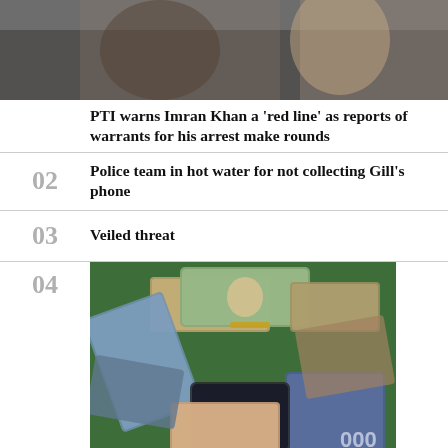[Figure (photo): Photo of a person or crowd at a political event]
PTI warns Imran Khan a 'red line' as reports of warrants for his arrest make rounds
02
Police team in hot water for not collecting Gill's phone
03
Veiled threat
04
[Figure (photo): Stacks of Pakistani rupee notes and US dollar bills bundled together on a table, depicting foreign currency]
Foreign currency shortage hits open market